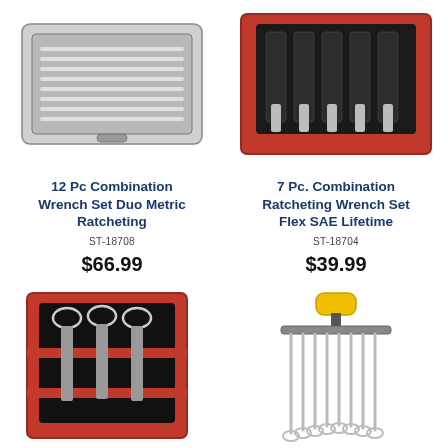[Figure (photo): 12 Pc Combination Wrench Set Duo Metric Ratcheting in a metal case, shown open with wrenches arranged in a row]
12 Pc Combination Wrench Set Duo Metric Ratcheting
ST-18708
$66.99
[Figure (photo): 7 Pc Combination Ratcheting Wrench Set Flex SAE Lifetime in a red fabric roll pouch with wrenches displayed]
7 Pc. Combination Ratcheting Wrench Set Flex SAE Lifetime
ST-18704
$39.99
[Figure (photo): Wrench set in a black and red fabric roll pouch, showing several combination wrenches laid out]
[Figure (photo): Wrench set on a rack with yellow handle, showing multiple combination wrenches arranged on a holder]